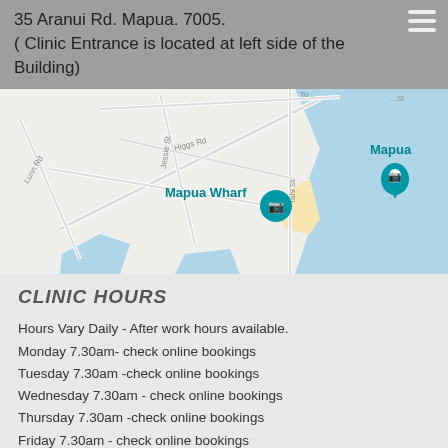35 Aranui Rd. Mapua. 7005.
( Clinic Entrance is located at left side of the Building)
[Figure (map): Google Maps view showing Mapua Wharf area with streets including Higgs Rd, Jessie St, Tahi St, and water/coastal areas. Teal map pin markers visible at Mapua Wharf and Mapua.]
CLINIC HOURS
Hours Vary Daily  - After work hours available.
Monday 7.30am- check online bookings
Tuesday 7.30am -check online bookings
Wednesday 7.30am - check online bookings
Thursday 7.30am -check online bookings
Friday 7.30am - check online bookings
Check Online Now